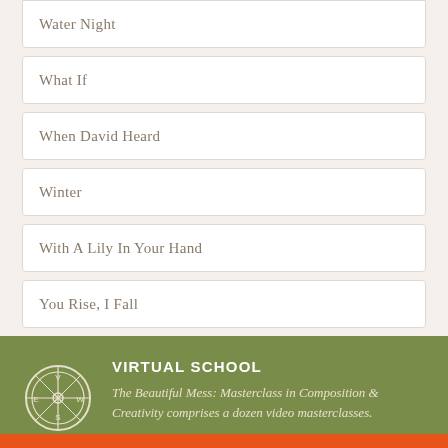Water Night
What If
When David Heard
Winter
With A Lily In Your Hand
You Rise, I Fall
VIRTUAL SCHOOL
The Beautiful Mess: Masterclass in Composition & Creativity comprises a dozen video masterclasses.